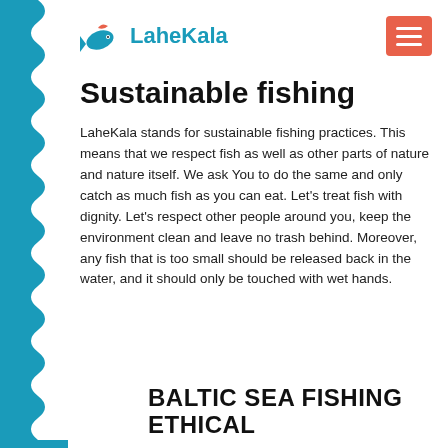[Figure (logo): LaheKala fish logo with teal fish icon and teal text 'LaheKala']
Sustainable fishing
LaheKala stands for sustainable fishing practices. This means that we respect fish as well as other parts of nature and nature itself. We ask You to do the same and only catch as much fish as you can eat. Let's treat fish with dignity. Let's respect other people around you, keep the environment clean and leave no trash behind. Moreover, any fish that is too small should be released back in the water, and it should only be touched with wet hands.
BALTIC SEA FISHING ETHICAL